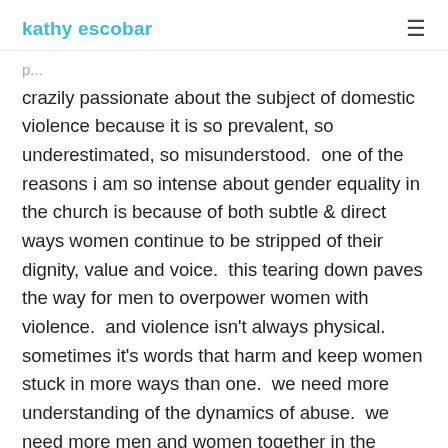kathy escobar
crazily passionate about the subject of domestic violence because it is so prevalent, so underestimated, so misunderstood.  one of the reasons i am so intense about gender equality in the church is because of both subtle & direct ways women continue to be stripped of their dignity, value and voice.  this tearing down paves the way for men to overpower women with violence.  and violence isn't always physical.  sometimes it's words that harm and keep women stuck in more ways than one.  we need more understanding of the dynamics of abuse.  we need more men and women together in the conversation so we can learn from each other.  and we need to keep